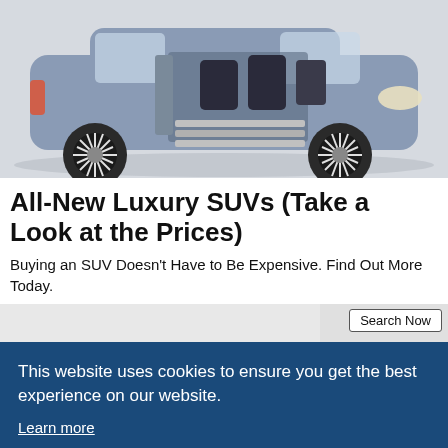[Figure (photo): Blue luxury SUV with doors open and steps extended, showing interior seating, photographed from the side against a light background.]
All-New Luxury SUVs (Take a Look at the Prices)
Buying an SUV Doesn't Have to Be Expensive. Find Out More Today.
[Figure (screenshot): Search bar area with a 'Search Now' button visible on the right side.]
This website uses cookies to ensure you get the best experience on our website. Learn more
Got it!
[Figure (photo): Bottom strip showing partial images of luxury car interiors and materials.]